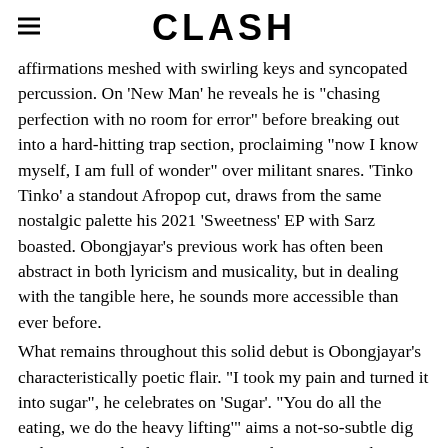CLASH
affirmations meshed with swirling keys and syncopated percussion. On 'New Man' he reveals he is "chasing perfection with no room for error" before breaking out into a hard-hitting trap section, proclaiming "now I know myself, I am full of wonder" over militant snares. 'Tinko Tinko' a standout Afropop cut, draws from the same nostalgic palette his 2021 'Sweetness' EP with Sarz boasted. Obongjayar's previous work has often been abstract in both lyricism and musicality, but in dealing with the tangible here, he sounds more accessible than ever before.
What remains throughout this solid debut is Obongjayar's characteristically poetic flair. "I took my pain and turned it into sugar", he celebrates on 'Sugar'. "You do all the eating, we do the heavy lifting'" aims a not-so-subtle dig at the powers that be on 'Parasite'. The rawness to his vocals add grit to a sound definitely polished, but not sanitised. 'Some Nights I Dream of Doors' may shed the crudity that helped